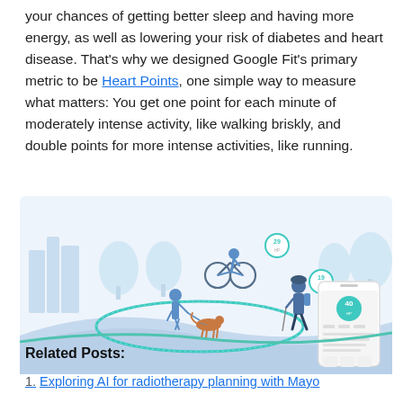your chances of getting better sleep and having more energy, as well as lowering your risk of diabetes and heart disease. That's why we designed Google Fit's primary metric to be Heart Points, one simple way to measure what matters: You get one point for each minute of moderately intense activity, like walking briskly, and double points for more intense activities, like running.
[Figure (illustration): Illustration showing a person on a bicycle with a Heart Points badge showing 29, a person walking a dog with a badge showing 19, a woman with a backpack walking, and a smartphone displaying the Google Fit app interface with a Heart Points score of 40. Background includes stylized blue trees and a cityscape.]
Related Posts:
1. Exploring AI for radiotherapy planning with Mayo